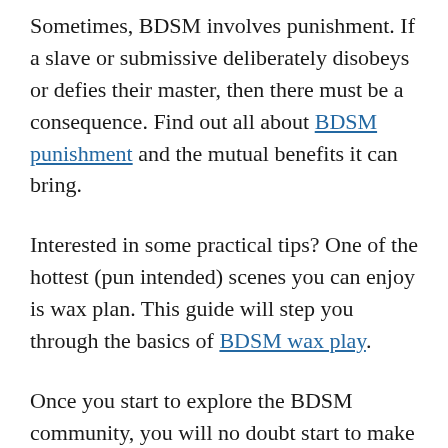Sometimes, BDSM involves punishment.  If a slave or submissive deliberately disobeys or defies their master, then there must be a consequence.  Find out all about BDSM punishment and the mutual benefits it can bring.
Interested in some practical tips?  One of the hottest (pun intended) scenes you can enjoy is wax plan.  This guide will step you through the basics of BDSM wax play.
Once you start to explore the BDSM community, you will no doubt start to make some kinky friends.  FetLife is like Facebook for